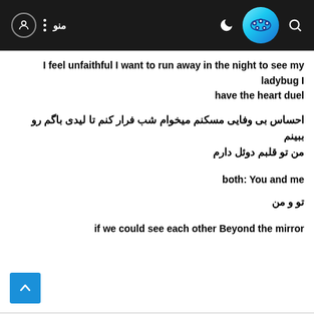منو  ⋮  [user icon]  [logo]  ☽  🔍
I feel unfaithful I want to run away in the night to see my ladybug I have the heart duel
احساس بی وفایی مسکنم میخوام شب فرار کنم تا لیدی باگم رو ببینم
من تو قلبم دوئل دارم
both: You and me
تو و من
if we could see each other Beyond the mirror